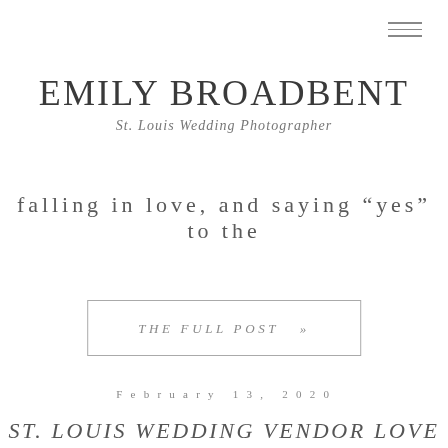EMILY BROADBENT
St. Louis Wedding Photographer
falling in love, and saying “yes” to the
THE FULL POST  »
February 13, 2020
ST. LOUIS WEDDING VENDOR LOVE |